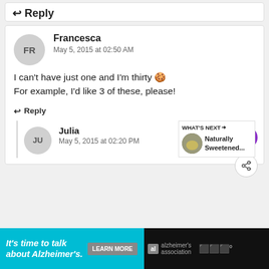↩ Reply
Francesca
May 5, 2015 at 02:50 AM
I can't have just one and I'm thirty 🍪
For example, I'd like 3 of these, please!
↩ Reply
Julia
May 5, 2015 at 02:20 PM
WHAT'S NEXT → Naturally Sweetened...
It's time to talk about Alzheimer's. LEARN MORE